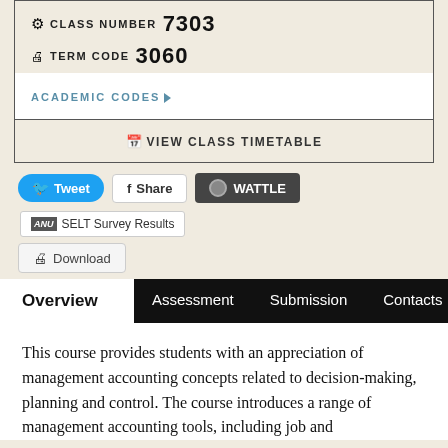CLASS NUMBER 7303
TERM CODE 3060
ACADEMIC CODES ▶
VIEW CLASS TIMETABLE
Tweet
Share
WATTLE
SELT Survey Results
Download
Overview
Assessment
Submission
Contacts
This course provides students with an appreciation of management accounting concepts related to decision-making, planning and control. The course introduces a range of management accounting tools, including job and